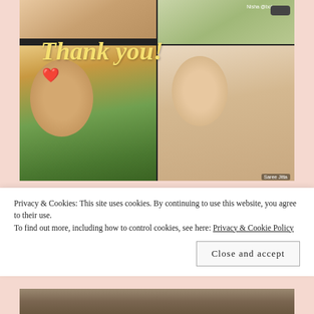[Figure (photo): Screenshot of a video call showing multiple participants. A 'Thank You!' text in gold cursive script overlays the image, along with a red heart emoji. Bottom-left participant is a woman with long hair laughing, wearing a colorful top. Bottom-right participant is an Asian woman smiling. Top participants partially visible. Name tags 'Nisha @bohemno...' and 'Saree Jitta' visible.]
Privacy & Cookies: This site uses cookies. By continuing to use this website, you agree to their use.
To find out more, including how to control cookies, see here: Privacy & Cookie Policy
Close and accept
[Figure (photo): Partial photo showing a stone or rocky texture background, partially obscured by the cookie consent banner.]